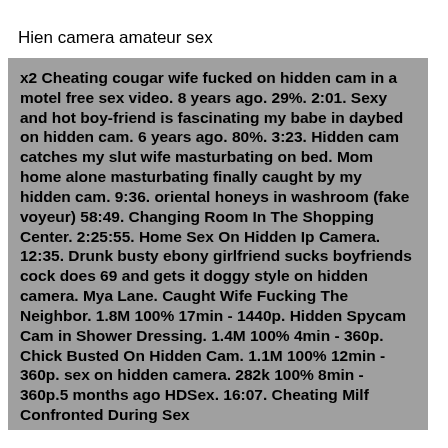Hien camera amateur sex
x2 Cheating cougar wife fucked on hidden cam in a motel free sex video. 8 years ago. 29%. 2:01. Sexy and hot boy-friend is fascinating my babe in daybed on hidden cam. 6 years ago. 80%. 3:23. Hidden cam catches my slut wife masturbating on bed. Mom home alone masturbating finally caught by my hidden cam. 9:36. oriental honeys in washroom (fake voyeur) 58:49. Changing Room In The Shopping Center. 2:25:55. Home Sex On Hidden Ip Camera. 12:35. Drunk busty ebony girlfriend sucks boyfriends cock does 69 and gets it doggy style on hidden camera. Mya Lane. Caught Wife Fucking The Neighbor. 1.8M 100% 17min - 1440p. Hidden Spycam Cam in Shower Dressing. 1.4M 100% 4min - 360p. Chick Busted On Hidden Cam. 1.1M 100% 12min - 360p. sex on hidden camera. 282k 100% 8min - 360p.5 months ago HDSex. 16:07. Cheating Milf Confronted During Sex